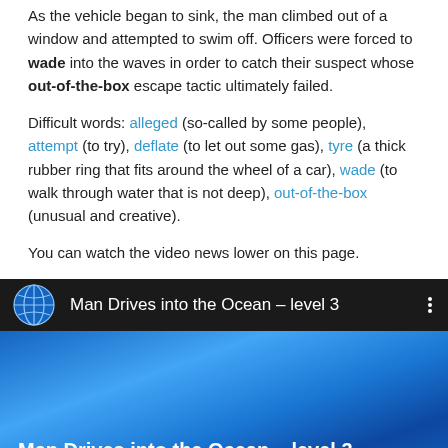As the vehicle began to sink, the man climbed out of a window and attempted to swim off. Officers were forced to wade into the waves in order to catch their suspect whose out-of-the-box escape tactic ultimately failed.
Difficult words: alleged (so-called by some people), attempt (to try), deflate (to let out some gas), tyre (a thick rubber ring that fits around the wheel of a car), wade (to walk through water that is not deep), out-of-the-box (unusual and creative).
You can watch the video news lower on this page.
[Figure (screenshot): YouTube video thumbnail and title bar showing 'Man Drives into the Ocean – level 3' with a globe icon and a blue ocean background with a play button.]